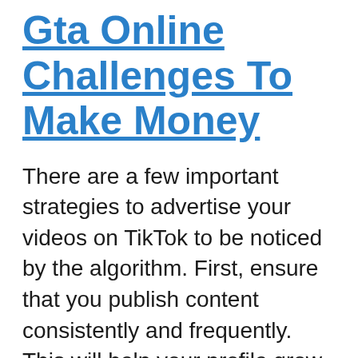Gta Online Challenges To Make Money
There are a few important strategies to advertise your videos on TikTok to be noticed by the algorithm. First, ensure that you publish content consistently and frequently. This will help your profile grow an audience that is loyal. Your videos must be engaging and offer value. Keep in mind that if you wish to make money with TikTok it is essential to make short and engaging videos that people can relate to. You can conduct some research on your niche to see if there's other people